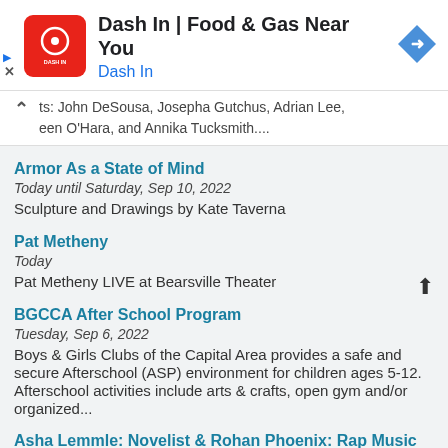[Figure (screenshot): Dash In | Food & Gas Near You advertisement banner with red logo and blue navigation diamond icon]
ts: John DeSousa, Josepha Gutchus, Adrian Lee, een O'Hara, and Annika Tucksmith....
Armor As a State of Mind
Today until Saturday, Sep 10, 2022
Sculpture and Drawings by Kate Taverna
Pat Metheny
Today
Pat Metheny LIVE at Bearsville Theater
BGCCA After School Program
Tuesday, Sep 6, 2022
Boys & Girls Clubs of the Capital Area provides a safe and secure Afterschool (ASP) environment for children ages 5-12. Afterschool activities include arts & crafts, open gym and/or organized...
Asha Lemmle: Novelist & Rohan Phoenix: Rap Music